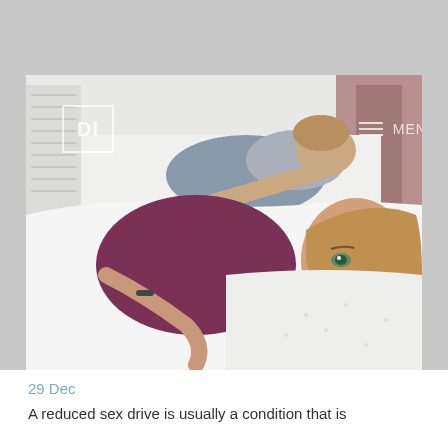[Figure (photo): A couple lying in bed; a woman in a purple/maroon top looks away with a distressed or unhappy expression while a man behind her appears to be asleep or resting with his arm around her. They are in a bedroom with white bedding and pillows. A website navigation overlay with a logo box (DI) and MENU text is visible at the top of the image.]
29 Dec
A reduced sex drive is usually a condition that is